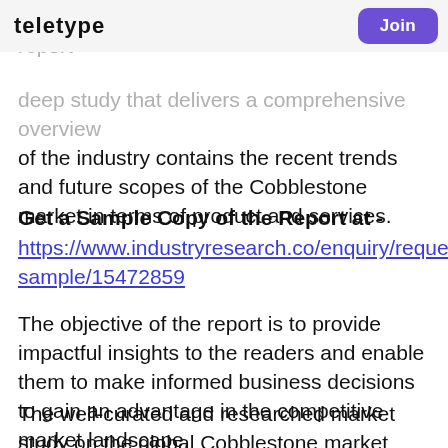teletype | Join
trend, and development opportunities. The report deep study that delivers a comprehensive overview of the industry contains the recent trends and future scopes of the Cobblestone market in terms of product and services.
Get a Sample Copy of the Report at -
https://www.industryresearch.co/enquiry/request-sample/15472859
The objective of the report is to provide impactful insights to the readers and enable them to make informed business decisions to gain an advantage in the competitive market landscape.
The well-curated and researched market study on the global Cobblestone market introspects the market scenario in the different regions worldwide. A thorough and detailed assessment of the market